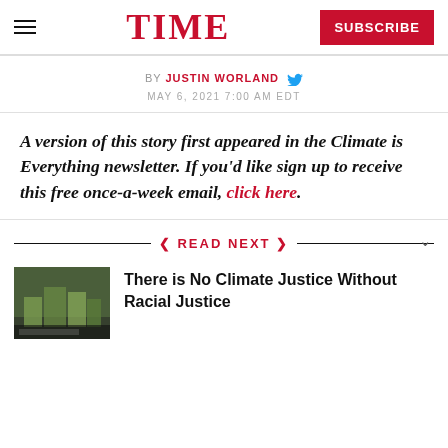TIME — SUBSCRIBE
BY JUSTIN WORLAND  MAY 6, 2021 7:00 AM EDT
A version of this story first appeared in the Climate is Everything newsletter. If you'd like sign up to receive this free once-a-week email, click here.
READ NEXT
There is No Climate Justice Without Racial Justice